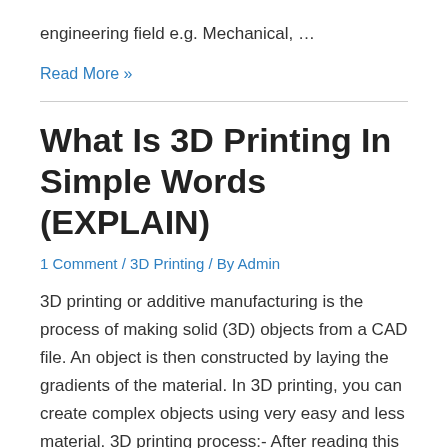engineering field e.g. Mechanical, …
Read More »
What Is 3D Printing In Simple Words (EXPLAIN)
1 Comment / 3D Printing / By Admin
3D printing or additive manufacturing is the process of making solid (3D) objects from a CAD file. An object is then constructed by laying the gradients of the material. In 3D printing, you can create complex objects using very easy and less material. 3D printing process:- After reading this